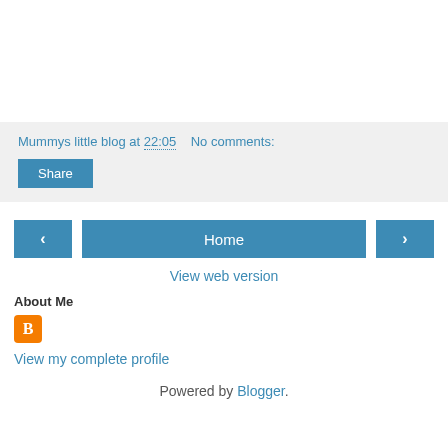Mummys little blog at 22:05   No comments:
Share
‹   Home   ›
View web version
About Me
[Figure (logo): Orange Blogger B icon square logo]
View my complete profile
Powered by Blogger.